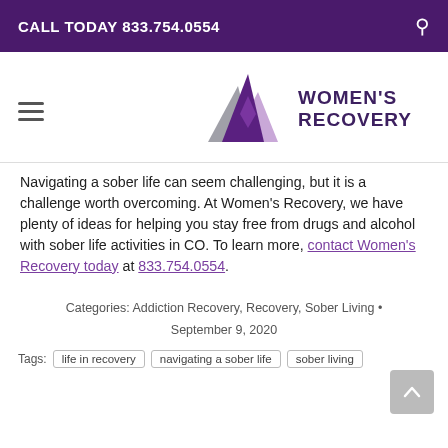CALL TODAY 833.754.0554
[Figure (logo): Women's Recovery logo with three mountain triangles (grey, dark purple, light purple) and text WOMEN'S RECOVERY]
Navigating a sober life can seem challenging, but it is a challenge worth overcoming. At Women's Recovery, we have plenty of ideas for helping you stay free from drugs and alcohol with sober life activities in CO. To learn more, contact Women's Recovery today at 833.754.0554.
Categories: Addiction Recovery, Recovery, Sober Living • September 9, 2020
Tags: life in recovery   navigating a sober life   sober living